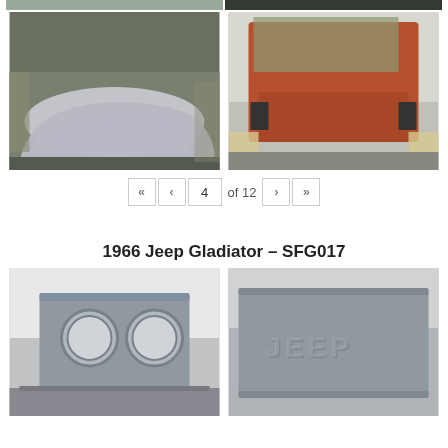[Figure (photo): Top row: left photo shows automotive part being sprayed/painted in gray, right photo shows dark background with partial vehicle]
[Figure (photo): Middle row: left photo shows a silver/white painted car fender or body panel on shop floor, right photo shows a rust/orange painted truck bed from rear angle in paint shop]
« ‹ 4 of 12 › »
1966 Jeep Gladiator - SFG017
[Figure (photo): Bottom row: left photo shows gray primer painted Jeep front grille panel with round headlight openings, right photo shows gray primer painted Jeep tailgate with embossed JEEP lettering]